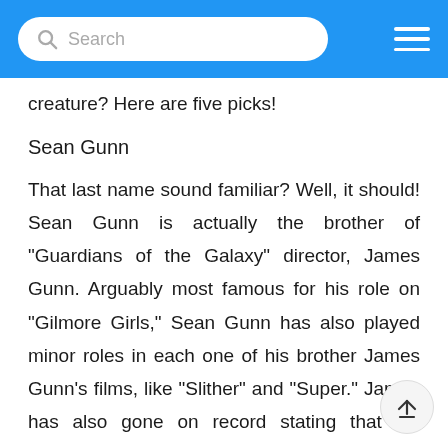Search
creature? Here are five picks!
Sean Gunn
That last name sound familiar? Well, it should! Sean Gunn is actually the brother of "Guardians of the Galaxy" director, James Gunn. Arguably most famous for his role on "Gilmore Girls," Sean Gunn has also played minor roles in each one of his brother James Gunn's films, like "Slither" and "Super." James has also gone on record stating that his brother will be in "Guardians," he just hasn't told us who his brother will be playing yet.
Jason Statham